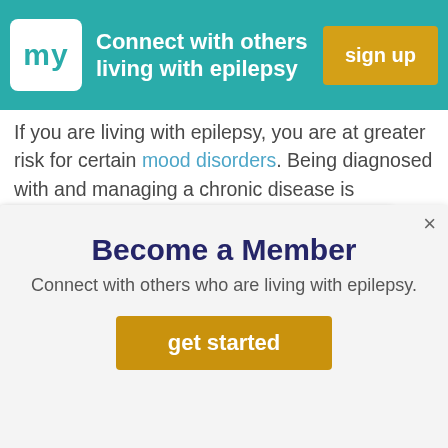Connect with others living with epilepsy | sign up
If you are living with epilepsy, you are at greater risk for certain mood disorders. Being diagnosed with and managing a chronic disease is stressful. Seizures themselves can affect a person's behavior. In addition, side effects of medicines may complicate the picture. Make [sure to talk to your doctor about your emotional and mental health ... therapy, ... and ...]
Become a Member
Connect with others who are living with epilepsy.
get started
Download the Doctor Discussion Guide PDF
[Figure (infographic): Advertisement banner: Still having seizures despite medications? TAKE THE QUIZ — with illustrated brain graphic]
ADVERTISEMENT